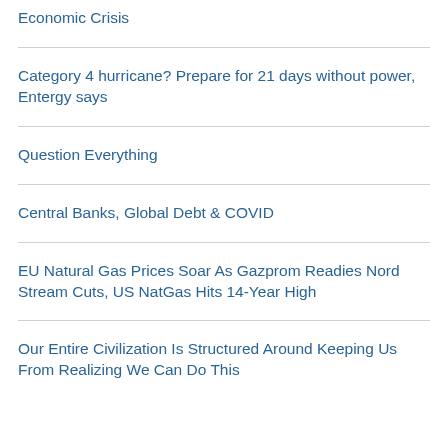Economic Crisis
Category 4 hurricane? Prepare for 21 days without power, Entergy says
Question Everything
Central Banks, Global Debt & COVID
EU Natural Gas Prices Soar As Gazprom Readies Nord Stream Cuts, US NatGas Hits 14-Year High
Our Entire Civilization Is Structured Around Keeping Us From Realizing We Can Do This